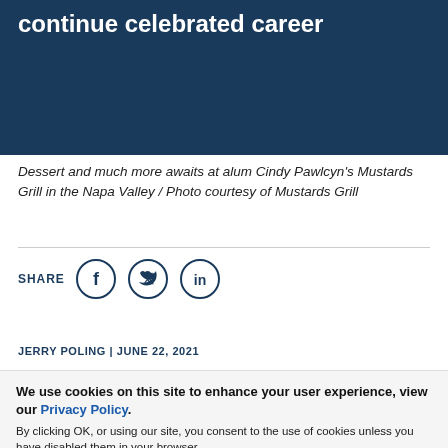[Figure (photo): Dark blue hero background with partial text visible at top: 'continue celebrated career']
Dessert and much more awaits at alum Cindy Pawlcyn's Mustards Grill in the Napa Valley / Photo courtesy of Mustards Grill
[Figure (infographic): Social share icons for Facebook, Twitter, and LinkedIn with SHARE label]
JERRY POLING | JUNE 22, 2021
We use cookies on this site to enhance your user experience, view our Privacy Policy. By clicking OK, or using our site, you consent to the use of cookies unless you have disabled them in your browser.